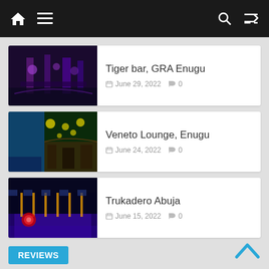Navigation bar with home, menu, search, and shuffle icons
[Figure (photo): Dark interior of Tiger bar GRA Enugu, purple/blue lighting]
Tiger bar, GRA Enugu
June 29, 2022  0
[Figure (photo): Veneto Lounge Enugu interior with yellow decorative lights and green foliage]
Veneto Lounge, Enugu
June 24, 2022  0
[Figure (photo): Trukadero Abuja bowling alley with blue/purple lighting]
Trukadero Abuja
June 15, 2022  0
REVIEWS